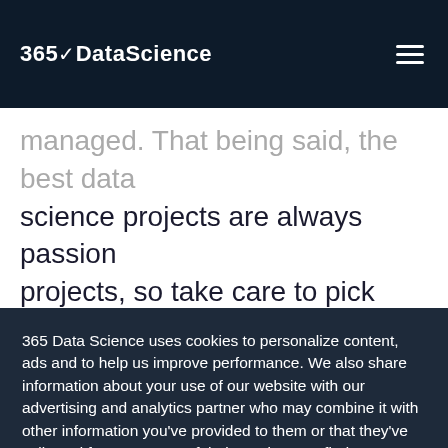365 DataScience
managed. That being said, the best data science projects are always passion projects, so take care to pick data sets that interest you and that are of value to you before you start pondering the business applications of your project. Excel is uniquely positioned to be both a powerful business...
365 Data Science uses cookies to personalize content, ads and to help us improve performance. We also share information about your use of our website with our advertising and analytics partner who may combine it with other information you've provided to them or that they've collected from your use of their services. To find out more, read our Privacy Policy and Cookie Policy.
finding their way in predictive analytics solutions.
Accept